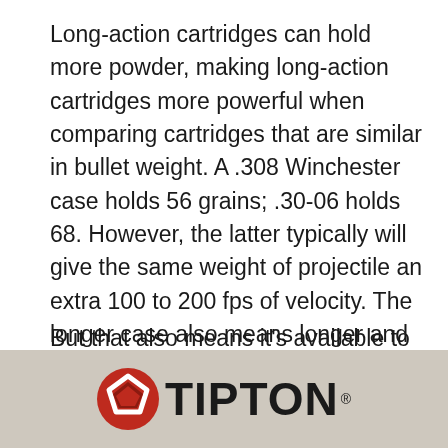Long-action cartridges can hold more powder, making long-action cartridges more powerful when comparing cartridges that are similar in bullet weight. A .308 Winchester case holds 56 grains; .30-06 holds 68. However, the latter typically will give the same weight of projectile an extra 100 to 200 fps of velocity. The longer case also means longer and heavier bullets can be seated in the case; .30-06 can also use bullets up to 220 grains in weight, whereas .308 cannot.
[Figure (logo): Tipton brand logo with red pentagon icon and bold black TIPTON wordmark on a tan/beige background banner]
But that also means it's available to more ...e, say, a